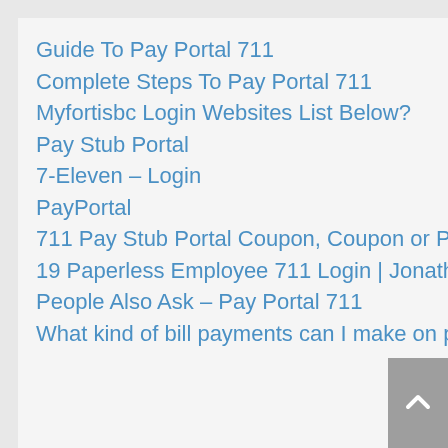Guide To Pay Portal 711
Complete Steps To Pay Portal 711
Myfortisbc Login Websites List Below?
Pay Stub Portal
7-Eleven – Login
PayPortal
711 Pay Stub Portal Coupon, Coupon or Promo Codes
19 Paperless Employee 711 Login | Jonathanrashad – Payment ?
People Also Ask – Pay Portal 711
What kind of bill payments can I make on payportal?